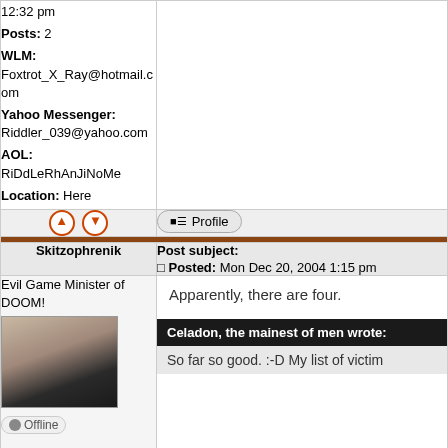12:32 pm
Posts: 2
WLM: Foxtrot_X_Ray@hotmail.com
Yahoo Messenger: Riddler_039@yahoo.com
AOL: RiDdLeRhAnJiNoMe
Location: Here
Skitzophrenik
Post subject: Posted: Mon Dec 20, 2004 1:15 pm
Evil Game Minister of DOOM!
Apparently, there are four.
Celadon, the mainest of men wrote:
So far so good. :-D My list of victim
Offline